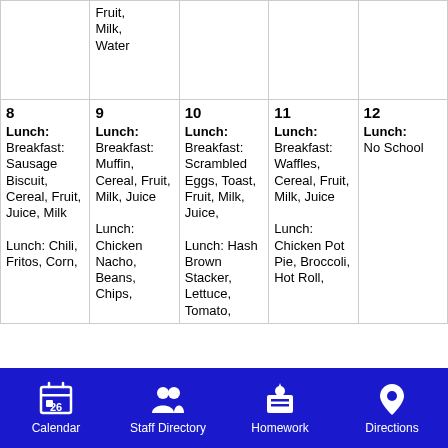| (Mon) | (Tue) | (Wed) | (Thu) | (Fri) |
| --- | --- | --- | --- | --- |
| Fruit, Milk, Water |  |  |  |  |
| 8
Lunch:
Breakfast: Sausage Biscuit, Cereal, Fruit, Juice, Milk

Lunch: Chili, Fritos, Corn, | 9
Lunch:
Breakfast: Muffin, Cereal, Fruit, Milk, Juice

Lunch: Chicken Nacho, Beans, Chips, | 10
Lunch:
Breakfast: Scrambled Eggs, Toast, Fruit, Milk, Juice,

Lunch: Hash Brown Stacker, Lettuce, Tomato, | 11
Lunch:
Breakfast: Waffles, Cereal, Fruit, Milk, Juice

Lunch: Chicken Pot Pie, Broccoli, Hot Roll, | 12
Lunch:
No School |
Calendar   Staff Directory   Homework   Directions